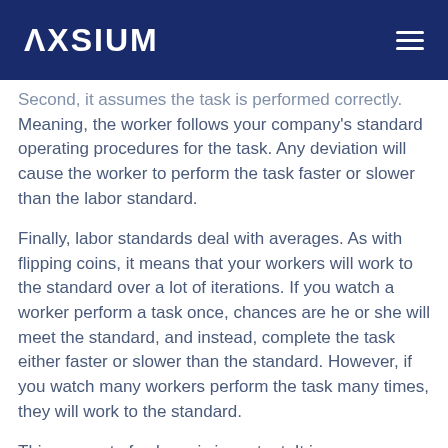AXSIUM
Second, it assumes the task is performed correctly.  Meaning, the worker follows your company's standard operating procedures for the task.  Any deviation will cause the worker to perform the task faster or slower than the labor standard.
Finally, labor standards deal with averages. As with flipping coins, it means that your workers will work to the standard over a lot of iterations.  If you watch a worker perform a task once, chances are he or she will meet the standard, and instead, complete the task either faster or slower than the standard. However, if you watch many workers perform the task many times, they will work to the standard.
This concept of volume is important.  It is